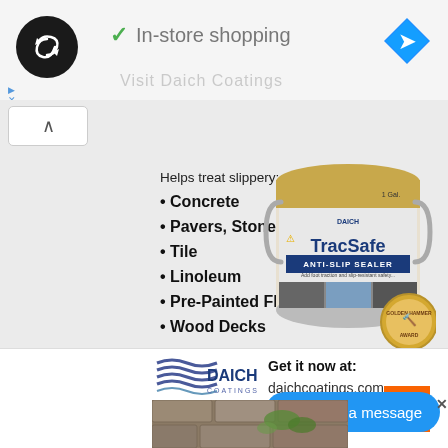[Figure (screenshot): Top bar with circular logo (dark background with looping arrows icon), green checkmark and 'In-store shopping' text, blue diamond navigation arrow icon on right]
In-store shopping
Helps treat slippery:
Concrete
Pavers, Stone
Tile
Linoleum
Pre-Painted Floors
Wood Decks
[Figure (photo): TracSafe Anti-Slip Sealer 1 gallon can by DAICH Coatings, with Golden Hammer Award medallion]
[Figure (logo): DAICH COATINGS logo with wave lines]
Get it now at: daichcoatings.com
and online at The Home Depot
[Figure (logo): The Home Depot orange square logo]
leave a message
[Figure (photo): Partial bottom image showing stone pavers with plants/grass]